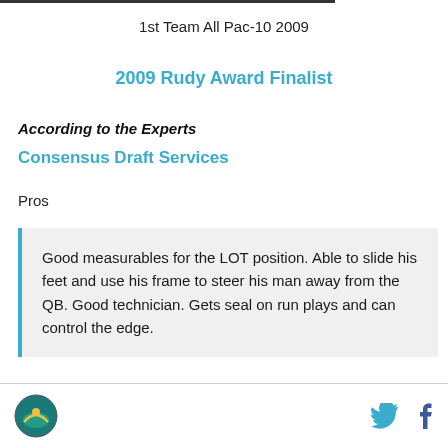1st Team All Pac-10 2009
2009 Rudy Award Finalist
According to the Experts
Consensus Draft Services
Pros
Good measurables for the LOT position. Able to slide his feet and use his frame to steer his man away from the QB. Good technician. Gets seal on run plays and can control the edge.
Logo and social media icons